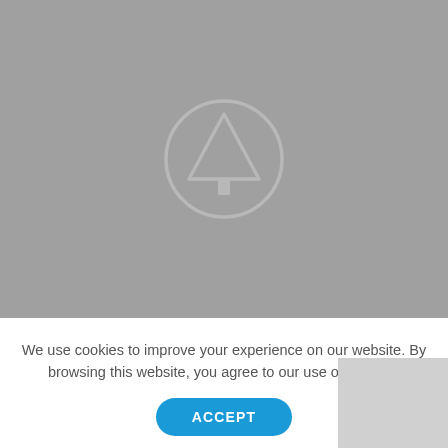[Figure (illustration): Large grey background image area with a circular tree/pine logo icon centered in the lower-middle portion. The circle contains a triangle-shaped evergreen tree silhouette with a small trunk, rendered in a slightly darker grey on the grey background.]
We use cookies to improve your experience on our website. By browsing this website, you agree to our use of cookies.
[Figure (other): Small grey overlay box in the bottom-right corner, partially visible, appears to be part of a UI element or additional content beneath the cookie banner.]